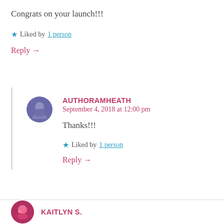Congrats on your launch!!!
★ Liked by 1 person
Reply →
AUTHORAMHEATH
September 4, 2018 at 12:00 pm
Thanks!!!
★ Liked by 1 person
Reply →
KAITLYN S.